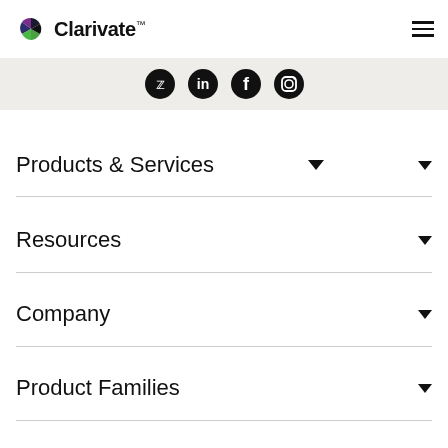Clarivate
[Figure (logo): Clarivate logo with colorful hexagon icon and wordmark with TM symbol]
[Figure (infographic): Social media icons bar: Twitter, LinkedIn, Facebook, Instagram — circular black icons on light grey background]
Products & Services
Resources
Company
Product Families